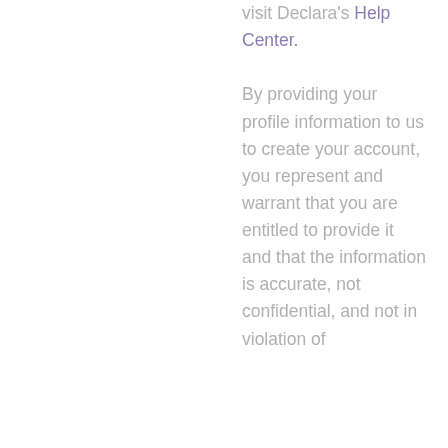visit Declara's Help Center.

By providing your profile information to us to create your account, you represent and warrant that you are entitled to provide it and that the information is accurate, not confidential, and not in violation of